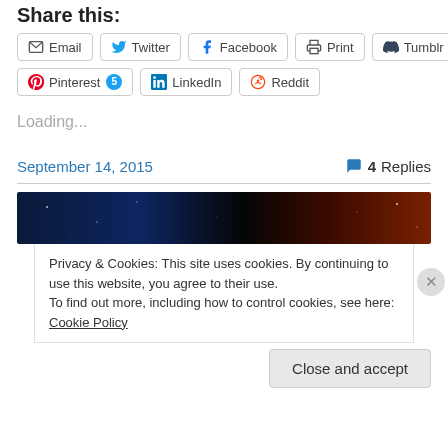Share this:
[Figure (infographic): Row of social share buttons: Email, Twitter, Facebook, Print, Tumblr; second row: Pinterest 5, LinkedIn, Reddit]
Loading...
September 14, 2015    4 Replies
[Figure (photo): Dark space/nebula banner image, blue on left transitioning to orange-red on right]
Privacy & Cookies: This site uses cookies. By continuing to use this website, you agree to their use.
To find out more, including how to control cookies, see here: Cookie Policy
Close and accept